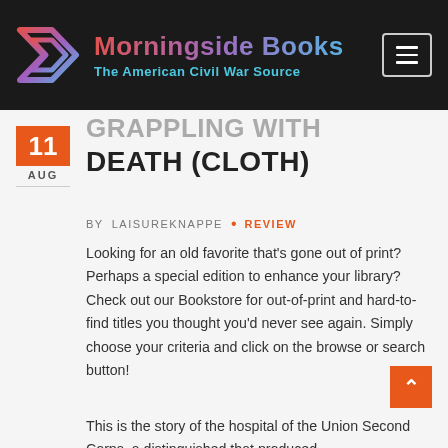Morningside Books — The American Civil War Source
GRAPPLING WITH DEATH (CLOTH)
BY LAISUREKNAPPE • REVIEW
Looking for an old favorite that's gone out of print? Perhaps a special edition to enhance your library? Check out our Bookstore for out-of-print and hard-to-find titles you thought you'd never see again. Simply choose your criteria and click on the browse or search button!
This is the story of the hospital of the Union Second Corps, a distinguished that produced...